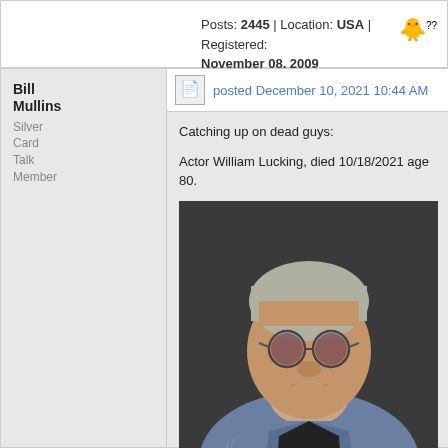Posts: 2445 | Location: USA | Registered: November 08, 2009
Bill Mullins
Silver Card Talk Member
posted December 10, 2021 10:44 AM
Catching up on dead guys:
Actor William Lucking, died 10/18/2021 age 80.
[Figure (photo): Photo of actor William Lucking, an older heavy-set man with grey hair slicked back, small round tinted sunglasses, goatee, wearing a denim vest with motorcycle club patches including 'REDWOOD' and 'ORIGINAL']